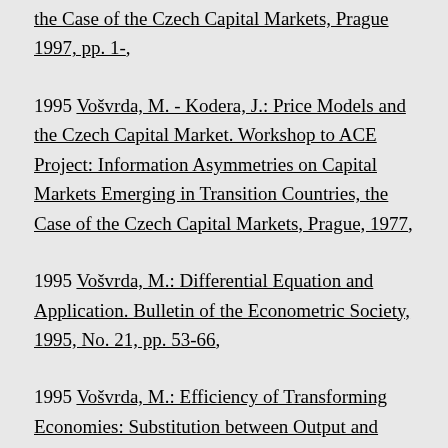the Case of the Czech Capital Markets, Prague 1997, pp. 1-,
1995 Vošvrda, M. - Kodera, J.: Price Models and the Czech Capital Market. Workshop to ACE Project: Information Asymmetries on Capital Markets Emerging in Transition Countries, the Case of the Czech Capital Markets, Prague, 1977,
1995 Vošvrda, M.: Differential Equation and Application. Bulletin of the Econometric Society, 1995, No. 21, pp. 53-66,
1995 Vošvrda, M.: Efficiency of Transforming Economies: Substitution between Output and Inflation. Praha, Akademie, 1997, pp. 127-132,